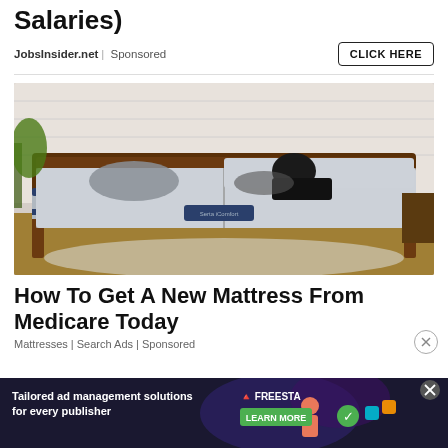Salaries)
JobsInsider.net | Sponsored
[Figure (photo): Woman lying on an adjustable split mattress/bed in a bedroom setting. The mattress appears to be a Serta iComfort or similar luxury brand. The bed frame is dark wood and the room has white brick walls with a plant in the background.]
How To Get A New Mattress From Medicare Today
Mattresses | Search Ads | Sponsored
[Figure (infographic): Bottom banner advertisement for Freestar ad management platform. Dark navy background with colorful graphic elements, person figure, and social/app icons. Text reads: Tailored ad management solutions for every publisher. FREESTAR logo and LEARN MORE button shown.]